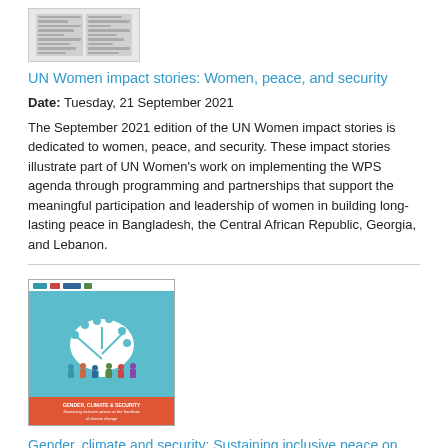[Figure (other): Thumbnail image of a document with two columns of text]
UN Women impact stories: Women, peace, and security
Date: Tuesday, 21 September 2021
The September 2021 edition of the UN Women impact stories is dedicated to women, peace, and security. These impact stories illustrate part of UN Women's work on implementing the WPS agenda through programming and partnerships that support the meaningful participation and leadership of women in building long-lasting peace in Bangladesh, the Central African Republic, Georgia, and Lebanon.
[Figure (illustration): Cover image of Gender, climate and security report showing a tree with people figures on a teal/blue background and red banner at bottom]
Gender, climate and security: Sustaining inclusive peace on the frontlines of climate change
Date: Tuesday, 9 June 2020